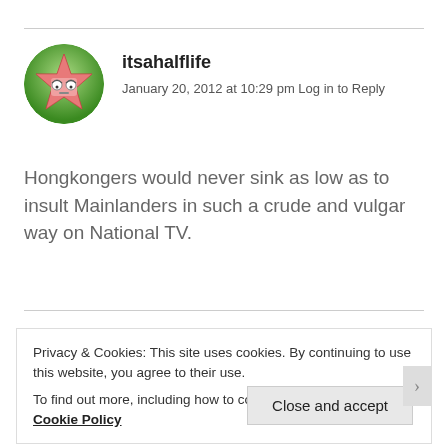[Figure (illustration): Round avatar icon showing a cartoon pink star character with eyes, on a green circular background]
itsahalflife
January 20, 2012 at 10:29 pm Log in to Reply
Hongkongers would never sink as low as to insult Mainlanders in such a crude and vulgar way on National TV.
Privacy & Cookies: This site uses cookies. By continuing to use this website, you agree to their use.
To find out more, including how to control cookies, see here: Cookie Policy